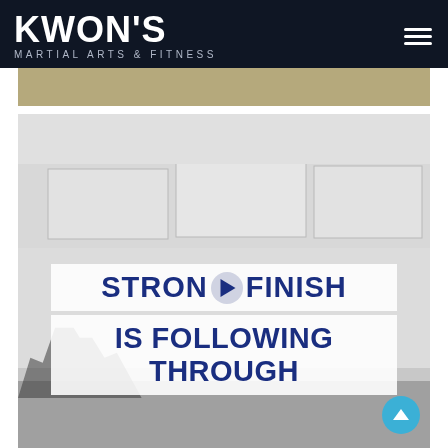KWON'S MARTIAL ARTS & FITNESS
[Figure (screenshot): Website screenshot showing Kwon's Martial Arts & Fitness logo on dark navy header with hamburger menu icon, a tan/beige banner strip below, and a large photo of a room under construction (empty space with drop ceiling, tools visible). Overlaid on the photo are two white banner overlays with bold dark blue text reading 'STRONG FINISH' on top (with a video play button icon in the middle) and 'IS FOLLOWING THROUGH' below. A teal scroll-to-top button appears in the lower right corner.]